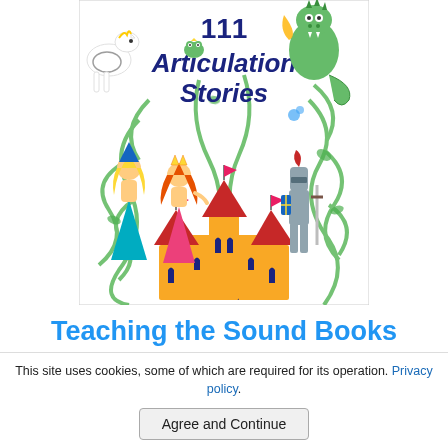[Figure (illustration): Book cover illustration for '111 Articulation Stories' featuring cartoon characters including a white horse, a frog, a green dragon, a princess, a queen/princess with orange hair, and a knight in armor, surrounding a golden castle with red towers and blue flags, set against green swirling vines on a white background. The title '111 Articulation Stories' is written in dark navy blue text at the top.]
Teaching the Sound Books
This site uses cookies, some of which are required for its operation. Privacy policy.
Agree and Continue